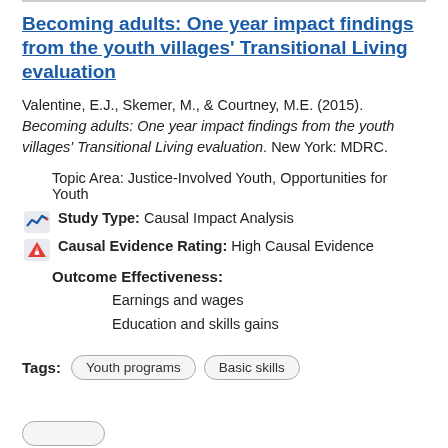Becoming adults: One year impact findings from the youth villages' Transitional Living evaluation
Valentine, E.J., Skemer, M., & Courtney, M.E. (2015). Becoming adults: One year impact findings from the youth villages' Transitional Living evaluation. New York: MDRC.
Topic Area: Justice-Involved Youth, Opportunities for Youth
Study Type: Causal Impact Analysis
Causal Evidence Rating: High Causal Evidence
Outcome Effectiveness:
Earnings and wages
Education and skills gains
Tags: Youth programs  Basic skills